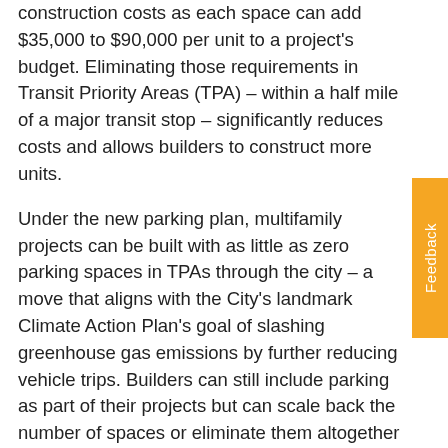construction costs as each space can add $35,000 to $90,000 per unit to a project's budget. Eliminating those requirements in Transit Priority Areas (TPA) – within a half mile of a major transit stop – significantly reduces costs and allows builders to construct more units.
Under the new parking plan, multifamily projects can be built with as little as zero parking spaces in TPAs through the city – a move that aligns with the City's landmark Climate Action Plan's goal of slashing greenhouse gas emissions by further reducing vehicle trips. Builders can still include parking as part of their projects but can scale back the number of spaces or eliminate them altogether based on market demand.
“We need to create more housing affordability for San Diego’s working families and this will be a big step in that direction,” Mayor Faulconer said. “We